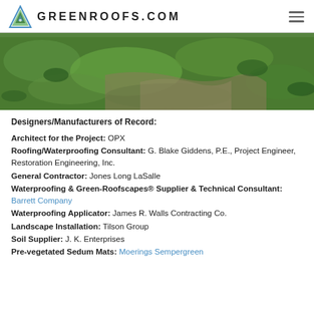GREENROOFS.COM
[Figure (photo): Aerial/close-up photo of a green roof covered with sedum and low-growing vegetation, with bare soil patches visible.]
Designers/Manufacturers of Record:
Architect for the Project: OPX
Roofing/Waterproofing Consultant: G. Blake Giddens, P.E., Project Engineer, Restoration Engineering, Inc.
General Contractor: Jones Long LaSalle
Waterproofing & Green-Roofscapes® Supplier & Technical Consultant: Barrett Company
Waterproofing Applicator: James R. Walls Contracting Co.
Landscape Installation: Tilson Group
Soil Supplier: J. K. Enterprises
Pre-vegetated Sedum Mats: Moerings Sempergreen